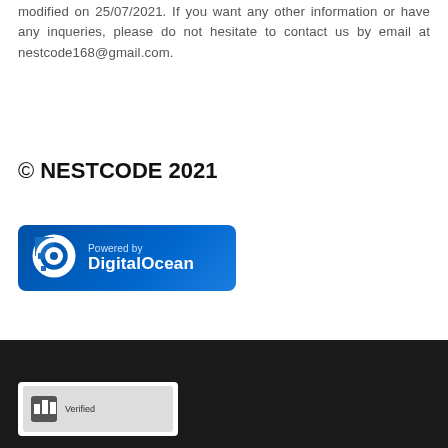modified on 25/07/2021. If you want any other information or have any inqueries, please do not hesitate to contact us by email at nestcode168@gmail.com.
© NESTCODE 2021
[Figure (logo): Powered by DigitalOcean badge with DigitalOcean logo on dark blue background]
[Figure (logo): Small badge/logo in dark footer area]